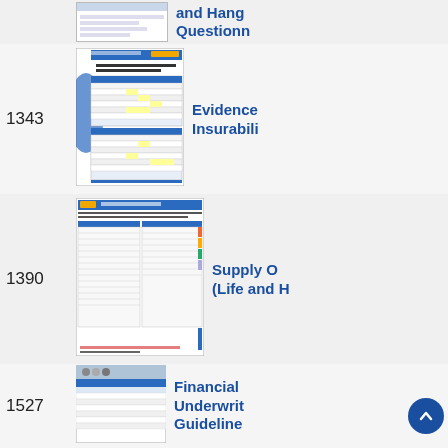[Figure (screenshot): Partial view of a document thumbnail at top of page (cropped)]
and Hang Questionn
1343
[Figure (screenshot): Evidence of Insurability form thumbnail with blue header, tables with yellow highlighted cells]
Evidence Insurabili
1390
[Figure (screenshot): Supply Order form for Life and Health Marketing, two-column table layout]
Supply O (Life and H
1527
[Figure (screenshot): Financial Underwriting Guidelines document thumbnail]
Financial Underwrit Guideline